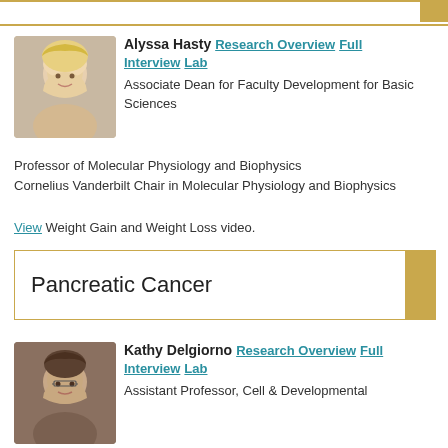[Figure (photo): Top decorative bar with gold accent on right]
[Figure (photo): Headshot of Alyssa Hasty, woman with curly blonde hair, smiling]
Alyssa Hasty  Research Overview  Full Interview  Lab
Associate Dean for Faculty Development for Basic Sciences
Professor of Molecular Physiology and Biophysics
Cornelius Vanderbilt Chair in Molecular Physiology and Biophysics
View Weight Gain and Weight Loss video.
Pancreatic Cancer
[Figure (photo): Headshot of Kathy Delgiorno, woman with glasses and brown hair, smiling]
Kathy Delgiorno  Research Overview  Full Interview  Lab
Assistant Professor, Cell & Developmental